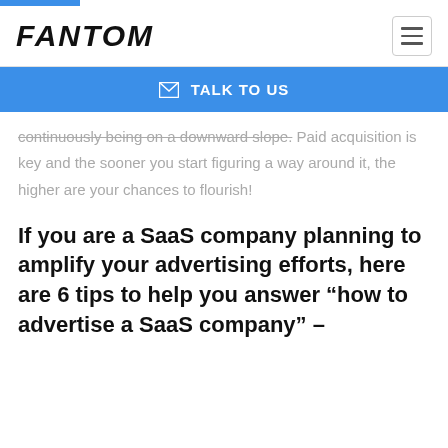FANTOM
TALK TO US
continuously being on a downward slope. Paid acquisition is key and the sooner you start figuring a way around it, the higher are your chances to flourish!
If you are a SaaS company planning to amplify your advertising efforts, here are 6 tips to help you answer “how to advertise a SaaS company” –